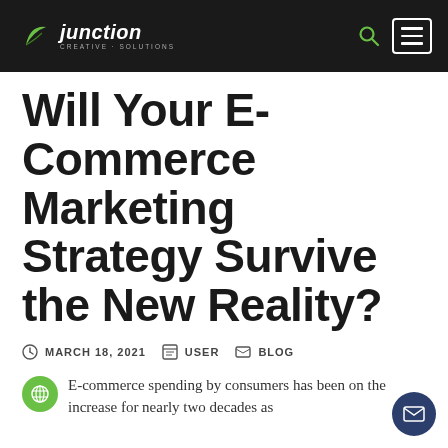Junction Creative Solutions — navigation header with logo, search icon, and menu button
Will Your E-Commerce Marketing Strategy Survive the New Reality?
MARCH 18, 2021   USER   BLOG
E-commerce spending by consumers has been on the increase for nearly two decades as